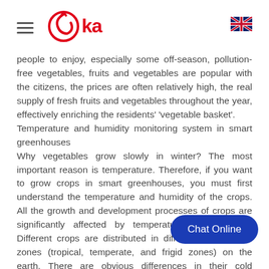RIKA [logo with hamburger menu and UK flag]
people to enjoy, especially some off-season, pollution-free vegetables, fruits and vegetables are popular with the citizens, the prices are often relatively high, the real supply of fresh fruits and vegetables throughout the year, effectively enriching the residents' 'vegetable basket'.
Temperature and humidity monitoring system in smart greenhouses
Why vegetables grow slowly in winter? The most important reason is temperature. Therefore, if you want to grow crops in smart greenhouses, you must first understand the temperature and humidity of the crops. All the growth and development processes of crops are significantly affected by temperature and humidity. Different crops are distributed in different temperature zones (tropical, temperate, and frigid zones) on the earth. There are obvious differences in their cold resistance and the influence of temperature and humidity on the natural distribution